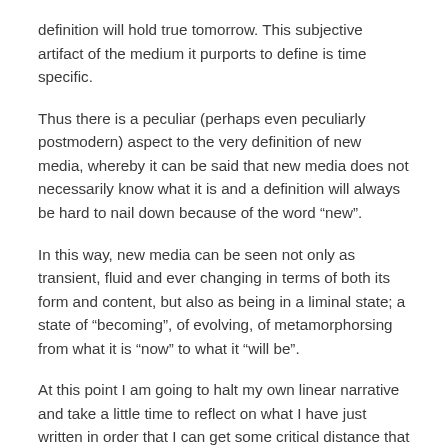definition will hold true tomorrow. This subjective artifact of the medium it purports to define is time specific.
Thus there is a peculiar (perhaps even peculiarly postmodern) aspect to the very definition of new media, whereby it can be said that new media does not necessarily know what it is and a definition will always be hard to nail down because of the word “new”.
In this way, new media can be seen not only as transient, fluid and ever changing in terms of both its form and content, but also as being in a liminal state; a state of “becoming”, of evolving, of metamorphorsing from what it is “now” to what it “will be”.
At this point I am going to halt my own linear narrative and take a little time to reflect on what I have just written in order that I can get some critical distance that is necessary for a “reflective experience” (Lee, 2009).